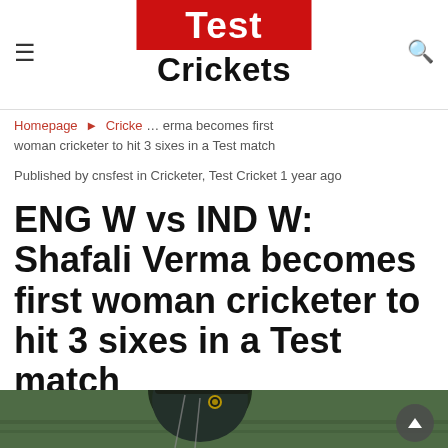Test Crickets — navigation header with logo
Homepage ▶ Cricket … erma becomes first woman cricketer to hit 3 sixes in a Test match
Published by cnsfest in Cricketer, Test Cricket 1 year ago
ENG W vs IND W: Shafali Verma becomes first woman cricketer to hit 3 sixes in a Test match
[Figure (photo): Cricket player (Shafali Verma) wearing a dark helmet with BCCI logo, green grass background. Partially visible at bottom of page.]